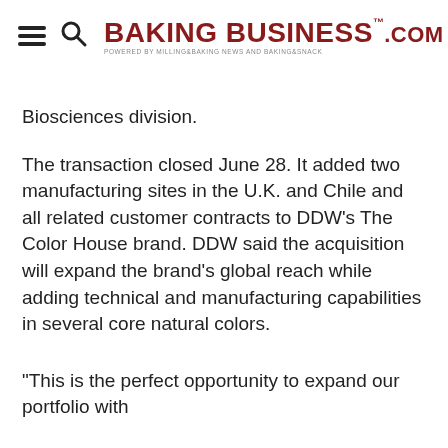BAKING BUSINESS .com — POWERED BY MILLING&BAKING NEWS AND BAKING&SNACK
Biosciences division.
The transaction closed June 28. It added two manufacturing sites in the U.K. and Chile and all related customer contracts to DDW's The Color House brand. DDW said the acquisition will expand the brand's global reach while adding technical and manufacturing capabilities in several core natural colors.
“This is the perfect opportunity to expand our portfolio with